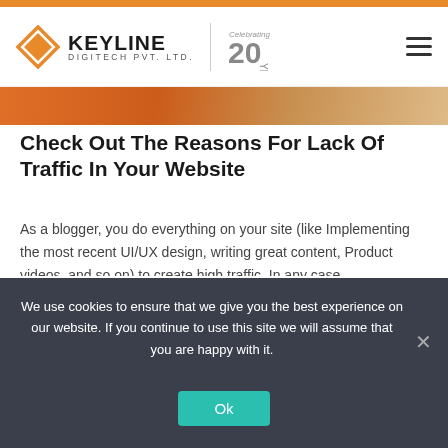KEYLINE DIGITECH PVT. LTD. — Celebrating 20 Years
[Figure (illustration): Orange gradient hero image strip at top of article]
Check Out The Reasons For Lack Of Traffic In Your Website
As a blogger, you do everything on your site (like Implementing the most recent UI/UX design, writing great content, Product videos, and so on) to create high traffic. In any case, notwithstanding this, if you can't accomplish the objective, it demotivates you, and you can't help thinking about why it has occurred?
We use cookies to ensure that we give you the best experience on our website. If you continue to use this site we will assume that you are happy with it.